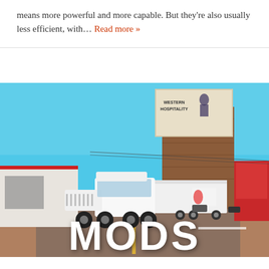means more powerful and more capable. But they're also usually less efficient, with… Read more »
[Figure (screenshot): American Truck Simulator screenshot showing a white Kenworth semi-truck with trailer driving through a small American town with brick buildings, a Western Hospitality billboard, traffic lights, and a bright blue sky. Large white text 'MODS' overlaid at the bottom.]